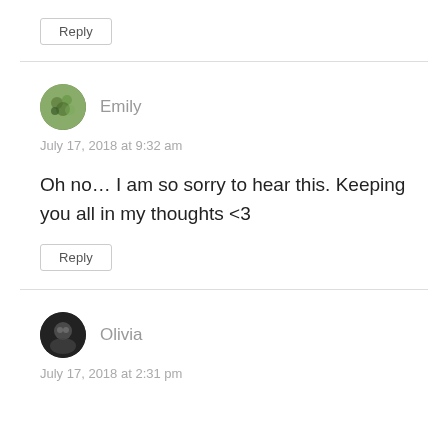Reply
Emily
July 17, 2018 at 9:32 am
Oh no… I am so sorry to hear this. Keeping you all in my thoughts <3
Reply
Olivia
July 17, 2018 at 2:31 pm